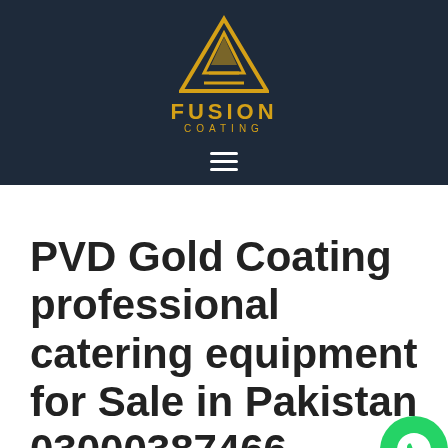[Figure (logo): Fusion Coating logo — golden triangle geometric mark above the text FUSION COATING on a dark navy background with a hamburger menu icon below]
PVD Gold Coating professional catering equipment for Sale in Pakistan 03000387466